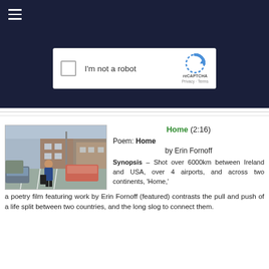☰ (hamburger menu)
[Figure (screenshot): Dark navy background section with a reCAPTCHA widget showing a checkbox labeled 'I'm not a robot' and the reCAPTCHA logo with Privacy and Terms links]
[Figure (photo): Woman walking through a parking lot with brick buildings in the background, carrying luggage, parked cars visible on both sides]
Home (2:16)
Poem: Home
by Erin Fornoff
Synopsis – Shot over 6000km between Ireland and USA, over 4 airports, and across two continents, 'Home,' a poetry film featuring work by Erin Fornoff (featured) contrasts the pull and push of a life split between two countries, and the long slog to connect them.